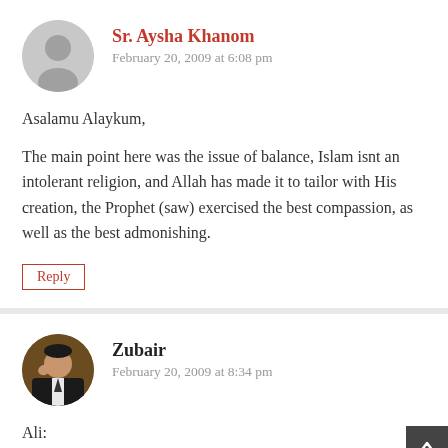Sr. Aysha Khanom
February 20, 2009 at 6:08 pm
Asalamu Alaykum,
The main point here was the issue of balance, Islam isnt an intolerant religion, and Allah has made it to tailor with His creation, the Prophet (saw) exercised the best compassion, as well as the best admonishing.
Reply
Zubair
February 20, 2009 at 8:34 pm
Ali: